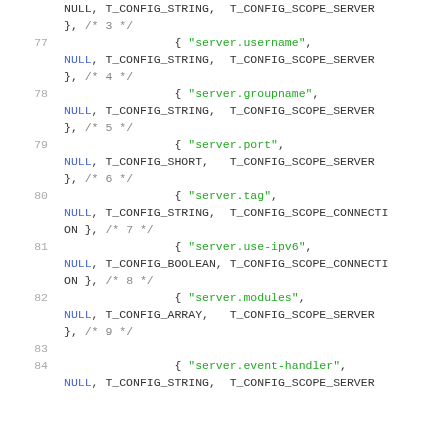Code listing showing C configuration array entries, lines 77-84, defining server configuration keys including server.username, server.groupname, server.port, server.tag, server.use-ipv6, server.modules, server.event-handler with associated NULL, type and scope constants.